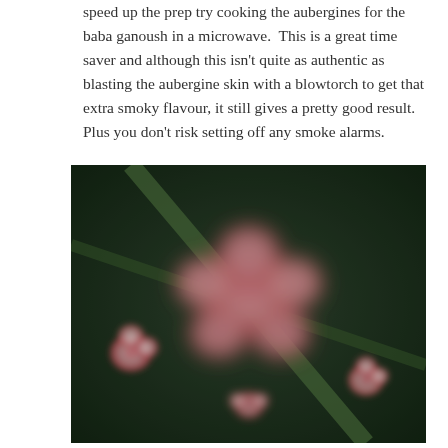speed up the prep try cooking the aubergines for the baba ganoush in a microwave.  This is a great time saver and although this isn't quite as authentic as blasting the aubergine skin with a blowtorch to get that extra smoky flavour, it still gives a pretty good result.  Plus you don't risk setting off any smoke alarms.
[Figure (photo): Close-up photo of pink and white flowers with a dark green background, slightly blurred.]